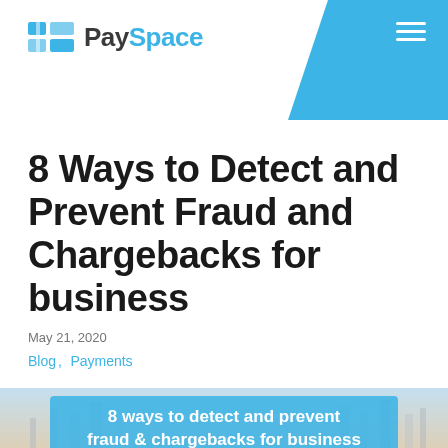PaySpace
8 Ways to Detect and Prevent Fraud and Chargebacks for business
May 21, 2020
Blog, Payments
[Figure (illustration): Hero image of a hand holding a glass globe/crystal ball with a city skyline in the background. A blue banner overlay reads: 8 ways to detect and prevent fraud & chargebacks for business]